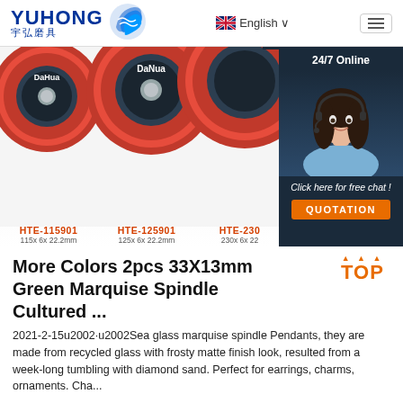YUHONG 宇弘磨具 | English | menu
[Figure (photo): Three red grinding/cutting discs labeled DaHua and DaNua with product codes HTE-115901 (115x6x22.2mm), HTE-125901 (125x6x22.2mm), HTE-230 (230x6x22mm). Right side shows a 24/7 online chat widget with a woman wearing a headset and a QUOTATION button.]
More Colors 2pcs 33X13mm Green Marquise Spindle Cultured ...
2021-2-15u2002·u2002Sea glass marquise spindle Pendants, they are made from recycled glass with frosty matte finish look, resulted from a week-long tumbling with diamond sand. Perfect for earrings, charms, ornaments. Cha...